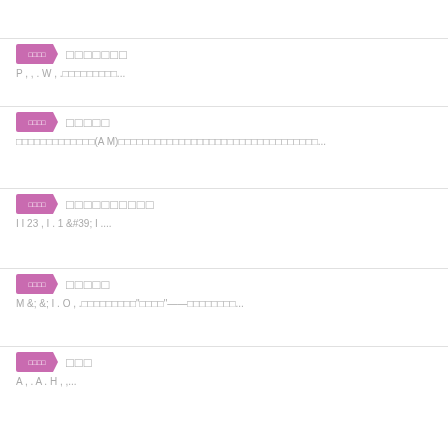□□□□□□□
P , , . W , .□□□□□□□□□...
□□□□□
□□□□□□□□□□□□(A M)□□□□□□□□□□□□□□□□□□□□□□□□□□□□□□□□□...
□□□□□□□□□□
I I 23 , I . I &#39; I ....
□□□□□
M &; &; I . O , .□□□□□□□□□"□□□□"——□□□□□□□□...
□□□
A , . A . H , ,...